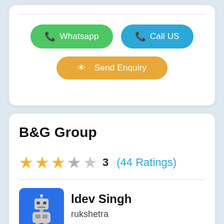[Figure (screenshot): Top card with Whatsapp (green button), Call US (blue button), and Send Enquiry (orange button) on a light blue background]
B&G Group
3 (44 Ratings)
ldev Singh
rukshetra